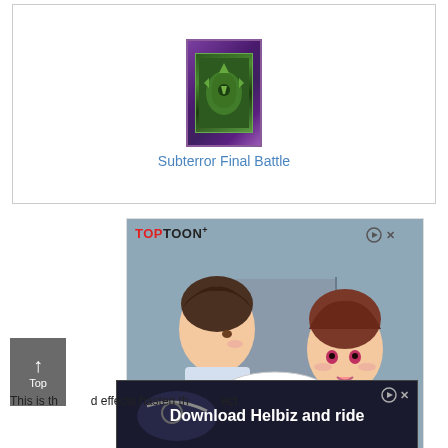[Figure (illustration): Yu-Gi-Oh trading card: Subterror Final Battle, purple border with green monster art]
Subterror Final Battle
[Figure (illustration): TOPTOON+ advertisement: anime/manga style illustration of two characters in a room, with speech bubble saying MRS.CHA.. and I GUESS IT CAN'T BE HELPED... HE SURE IS HEALTHY~]
[Figure (illustration): Download Helbiz and ride - advertisement banner with dark background and bicycle handlebar]
This is th... d effects hasten th... ect